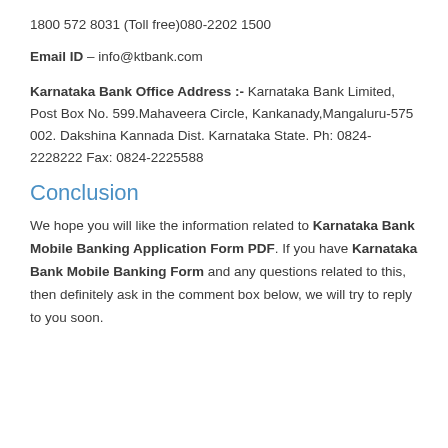1800 572 8031 (Toll free)080-2202 1500
Email ID – info@ktbank.com
Karnataka Bank Office Address :- Karnataka Bank Limited, Post Box No. 599.Mahaveera Circle, Kankanady,Mangaluru-575 002. Dakshina Kannada Dist. Karnataka State. Ph: 0824-2228222 Fax: 0824-2225588
Conclusion
We hope you will like the information related to Karnataka Bank Mobile Banking Application Form PDF. If you have Karnataka Bank Mobile Banking Form and any questions related to this, then definitely ask in the comment box below, we will try to reply to you soon.